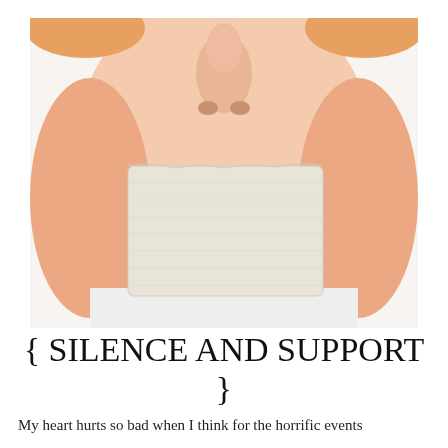[Figure (photo): Close-up photo of a person's lower face (nose to chin) with a rectangular piece of white tape covering the mouth, suggesting silencing. The skin tone is light, and the person wears a white shirt.]
{ SILENCE AND SUPPORT }
My heart hurts so bad when I think for the horrific events